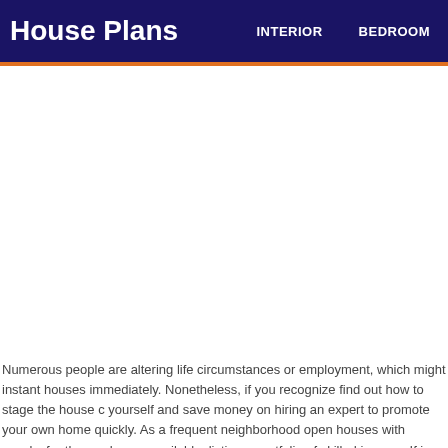House Plans  INTERIOR  BEDROOM
Numerous people are altering life circumstances or employment, which might instant houses immediately. Nonetheless, if you recognize find out how to stage the house c yourself and save money on hiring an expert to promote your own home quickly. As a frequent neighborhood open houses with snacks for those who are available, listing p portfolio of skilled images. If in case you have employed a professional stager, then s required information that you must know. When you've got any plans to sell your hou